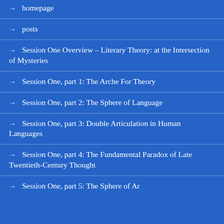→ homepage
→ posts
→ Session One Overview – Literary Theory: at the Intersection of Mysteries
→ Session One, part 1: The Arche For Theory
→ Session One, part 2: The Sphere of Language
→ Session One, part 3: Double Articulation in Human Languages
→ Session One, part 4: The Fundamental Paradox of Late Twentieth-Century Thought
→ Session One, part 5: The Sphere of Ar…